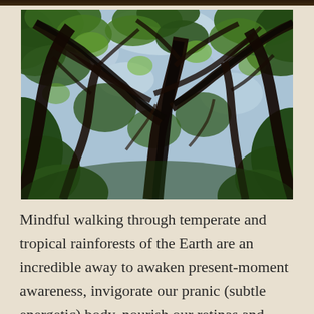[Figure (photo): Upward-looking view through a tropical rainforest canopy showing dark tree branches and trunks against bright green leaves and patches of blue sky.]
Mindful walking through temperate and tropical rainforests of the Earth are an incredible away to awaken present-moment awareness, invigorate our pranic (subtle energetic) body, nourish our retinas and pineal glands, soothe our nervous